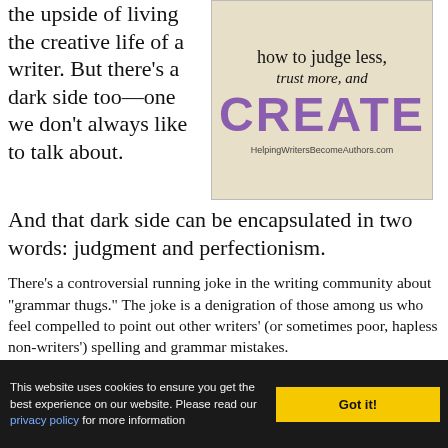the upside of living the creative life of a writer. But there’s a dark side too—one we don’t always like to talk about. And that dark side can be encapsulated in two words: judgment and perfectionism.
[Figure (illustration): Book cover image with text: 'how to judge less, trust more, and CREATE' with URL HelpingWritersBecomeAuthors.com on a parchment/tan background]
There’s a controversial running joke in the writing community about “grammar thugs.” The joke is a denigration of those among us who feel compelled to point out other writers’ (or sometimes poor, hapless non-writers’) spelling and grammar mistakes.
This website uses cookies to ensure you get the best experience on our website. Please read our privacy policy for more information